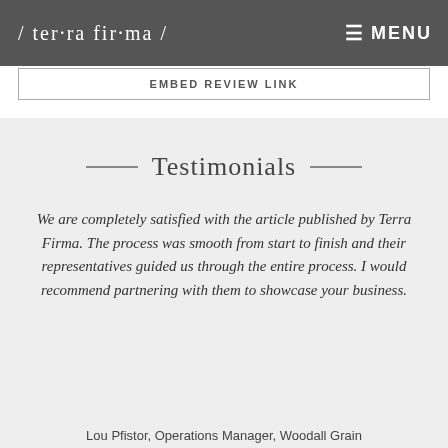/ ter·ra fir·ma /   ☰ MENU
EMBED REVIEW LINK
Testimonials
We are completely satisfied with the article published by Terra Firma. The process was smooth from start to finish and their representatives guided us through the entire process. I would recommend partnering with them to showcase your business.
Lou Pfistor, Operations Manager, Woodall Grain